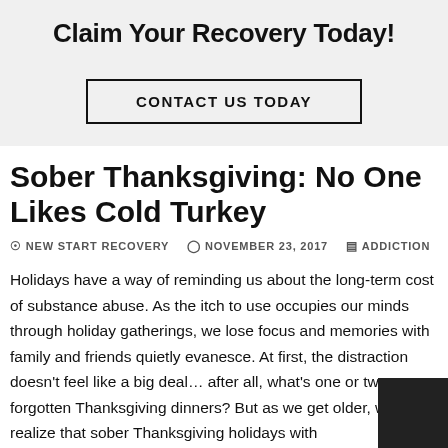Claim Your Recovery Today!
CONTACT US TODAY
Sober Thanksgiving: No One Likes Cold Turkey
NEW START RECOVERY   NOVEMBER 23, 2017   ADDICTION
Holidays have a way of reminding us about the long-term cost of substance abuse. As the itch to use occupies our minds through holiday gatherings, we lose focus and memories with family and friends quietly evanesce. At first, the distraction doesn't feel like a big deal… after all, what's one or two forgotten Thanksgiving dinners? But as we get older, we realize that sober Thanksgiving holidays with